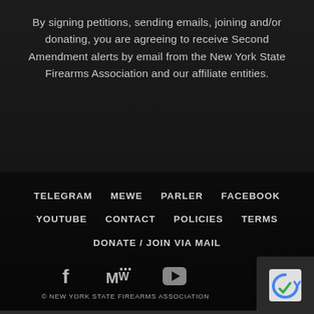By signing petitions, sending emails, joining and/or donating, you are agreeing to receive Second Amendment alerts by email from the New York State Firearms Association and our affiliate entities.
TELEGRAM   MEWE   PARLER   FACEBOOK
YOUTUBE   CONTACT   POLICIES   TERMS
DONATE / JOIN VIA MAIL
[Figure (other): Social media icons: Facebook (f), MeWe (MW), YouTube play button]
© NEW YORK STATE FIREARMS ASSOCIATION